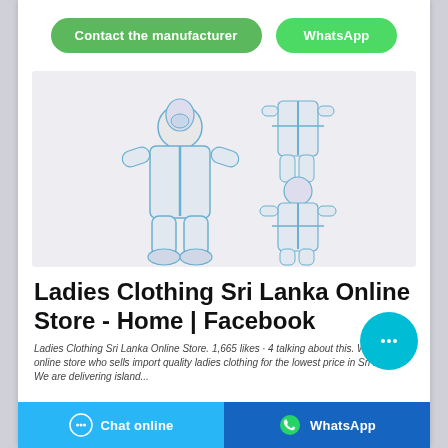[Figure (infographic): Two green rounded buttons: 'Contact the manufacturer' and 'WhatsApp']
[Figure (photo): Product photo of white protective full-body hazmat/PPE suit with blue seams, shown from front, back, and back-angled views on white/grey background]
Ladies Clothing Sri Lanka Online Store - Home | Facebook
Ladies Clothing Sri Lanka Online Store. 1,665 likes · 4 talking about this. We are a online store who sells import quality ladies clothing for the lowest price in Sri Lanka. We are delivering island...
[Figure (infographic): Floating cyan chat bubble icon with ellipsis (...)]
Chat online    WhatsApp